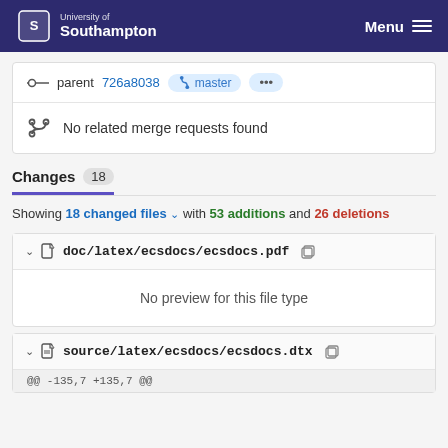University of Southampton  Menu
parent 726a8038  master  ...
No related merge requests found
Changes 18
Showing 18 changed files with 53 additions and 26 deletions
doc/latex/ecsdocs/ecsdocs.pdf
No preview for this file type
source/latex/ecsdocs/ecsdocs.dtx
@@ -135,7 +135,7 @@